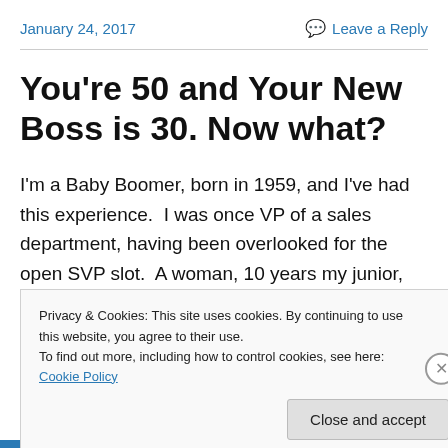January 24, 2017    Leave a Reply
You're 50 and Your New Boss is 30. Now what?
I'm a Baby Boomer, born in 1959, and I've had this experience.  I was once VP of a sales department, having been overlooked for the open SVP slot.  A woman, 10 years my junior, became my boss.  I immediately read
Privacy & Cookies: This site uses cookies. By continuing to use this website, you agree to their use.
To find out more, including how to control cookies, see here: Cookie Policy
Close and accept